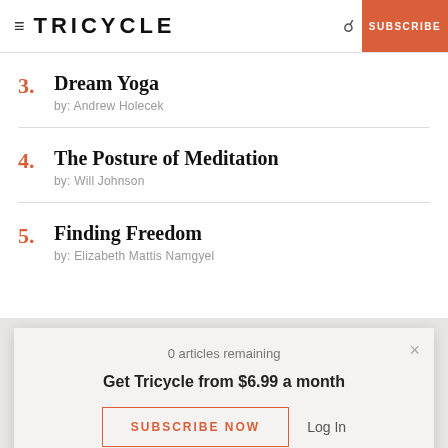TRICYCLE | SUBSCRIBE
3. Dream Yoga by: Andrew Holecek
4. The Posture of Meditation by: Will Johnson
5. Finding Freedom by: Elizabeth Mattis Namgyel
0 articles remaining
Get Tricycle from $6.99 a month
SUBSCRIBE NOW   Log In